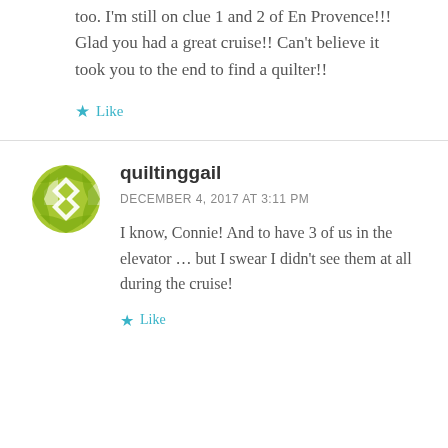too. I'm still on clue 1 and 2 of En Provence!!! Glad you had a great cruise!! Can't believe it took you to the end to find a quilter!!
Like
quiltinggail
DECEMBER 4, 2017 AT 3:11 PM
I know, Connie! And to have 3 of us in the elevator … but I swear I didn't see them at all during the cruise!
Like